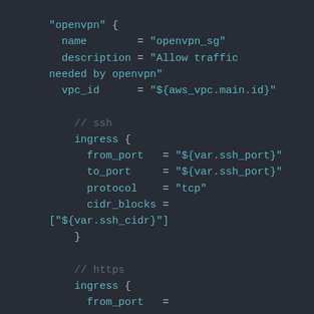"openvpn" {
  name        = "openvpn_sg"
  description = "Allow traffic
needed by openvpn"
  vpc_id      = "${aws_vpc.main.id}"

    // ssh
    ingress {
      from_port   = "${var.ssh_port}"
      to_port     = "${var.ssh_port}"
      protocol    = "tcp"
      cidr_blocks =
["${var.ssh_cidr}"]
    }

    // https
    ingress {
      from_port   =